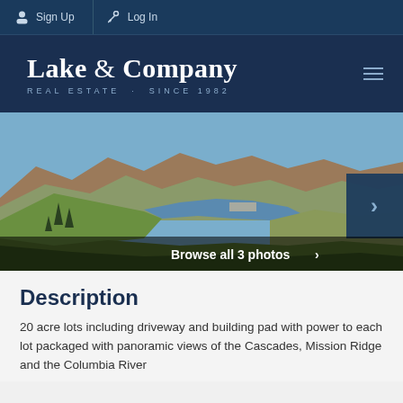Sign Up  Log In
Lake & Company
REAL ESTATE · SINCE 1982
[Figure (photo): Panoramic landscape photo showing rolling green hills, a river/lake in a valley, and brown mountains in the background under a blue sky. A navigation arrow button overlays the right side. A 'Browse all 3 photos ›' bar overlays the bottom.]
Description
20 acre lots including driveway and building pad with power to each lot packaged with panoramic views of the Cascades, Mission Ridge and the Columbia River